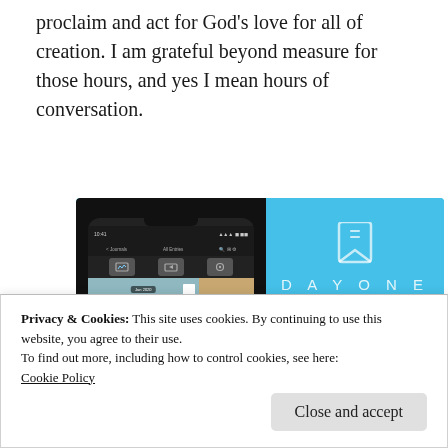proclaim and act for God's love for all of creation. I am grateful beyond measure for those hours, and yes I mean hours of conversation.
[Figure (screenshot): Day One app advertisement showing a phone mockup with journal entries on a blue background with the text 'DAY ONE' and 'Your Journal for life']
Privacy & Cookies: This site uses cookies. By continuing to use this website, you agree to their use.
To find out more, including how to control cookies, see here:
Cookie Policy
Close and accept